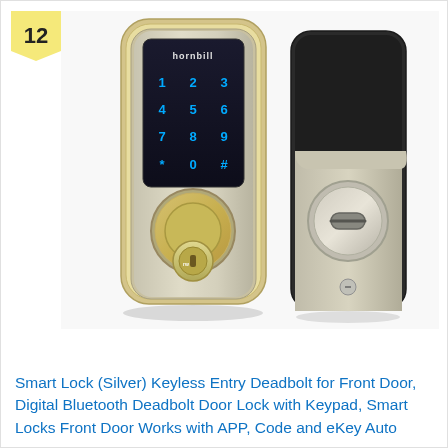12
[Figure (photo): Product photo of a Hornbill smart lock (silver/nickel finish) showing front view with touchpad keypad displaying numbers 1-9, *, 0, # in blue illumination and a key cylinder below, alongside the rear interior view showing a thumb turn knob]
Smart Lock (Silver) Keyless Entry Deadbolt for Front Door, Digital Bluetooth Deadbolt Door Lock with Keypad, Smart Locks Front Door Works with APP, Code and eKey Auto